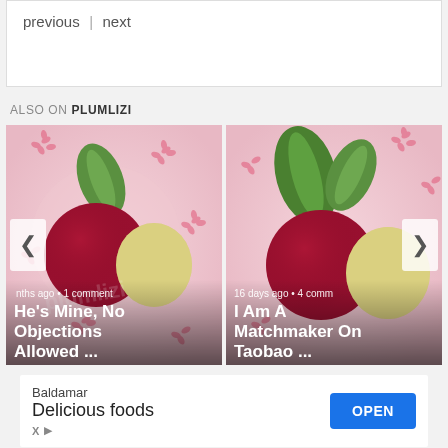previous | next
ALSO ON PLUMLIZI
[Figure (photo): Card carousel showing two blog post thumbnails with fruit imagery. Left card: 'He's Mine, No Objections Allowed ...' with meta 'nths ago • 1 comment'. Right card: 'I Am A Matchmaker On Taobao ...' with meta '16 days ago • 4 comm'. Navigation arrows on either side.]
Baldamar
Delicious foods
OPEN